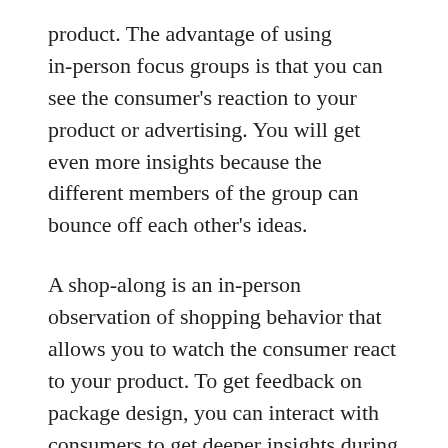product. The advantage of using in-person focus groups is that you can see the consumer's reaction to your product or advertising. You will get even more insights because the different members of the group can bounce off each other's ideas.
A shop-along is an in-person observation of shopping behavior that allows you to watch the consumer react to your product. To get feedback on package design, you can interact with consumers to get deeper insights during the shopping process. You can use in- home videos to see how users interact with your product. The method gives you the chance to observe user